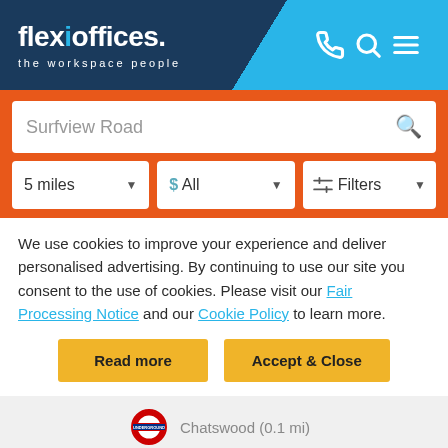[Figure (logo): Flexioffices logo with tagline 'the workspace people' on dark navy background with cyan icons]
[Figure (screenshot): Search bar showing 'Surfview Road' with search icon, and filter dropdowns for '5 miles', '$ All', and 'Filters']
We use cookies to improve your experience and deliver personalised advertising. By continuing to use our site you consent to the use of cookies. Please visit our Fair Processing Notice and our Cookie Policy to learn more.
Read more | Accept & Close
Chatswood (0.1 mi)
Chatswood (0.1 mi)